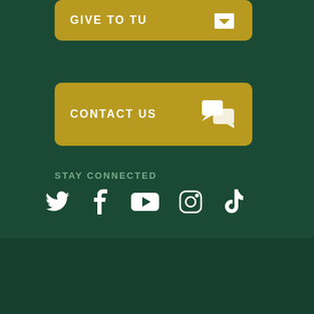[Figure (other): Gold rounded button with text GIVE TO TU and a download/inbox icon on dark green background]
[Figure (other): Gold rounded button with text CONTACT US and a chat bubbles icon on dark green background]
STAY CONNECTED
[Figure (other): Social media icons: Twitter, Facebook, YouTube, Instagram, TikTok in white on dark green background]
©2022 TIFFIN UNIVERSITY
155 MIAMI ST. TIFFIN, OH 44883
800.968.6446